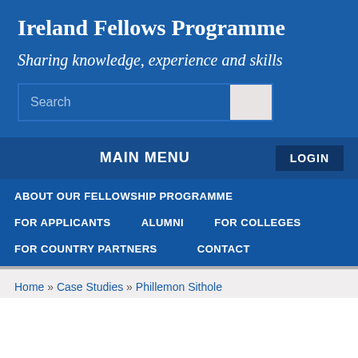Ireland Fellows Programme
Sharing knowledge, experience and skills
MAIN MENU
ABOUT OUR FELLOWSHIP PROGRAMME
FOR APPLICANTS
ALUMNI
FOR COLLEGES
FOR COUNTRY PARTNERS
CONTACT
Home » Case Studies » Phillemon Sithole